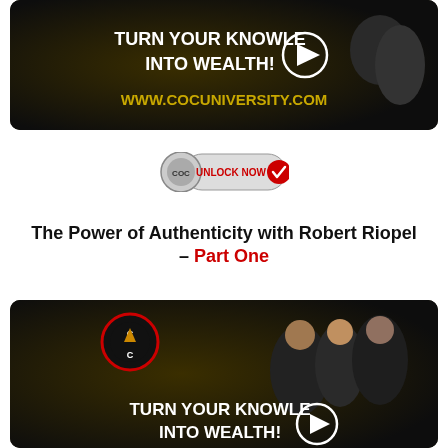[Figure (screenshot): Video thumbnail with dark background showing 'TURN YOUR KNOWLEDGE INTO WEALTH!' text and play button, with www.cocuniversity.com URL, showing businesspeople]
[Figure (logo): COC Unlock Now button badge]
The Power of Authenticity with Robert Riopel – Part One
[Figure (screenshot): Second video thumbnail with dark background showing COC logo and 'TURN YOUR KNOWLEDGE INTO WEALTH!' text, three businesspeople smiling]